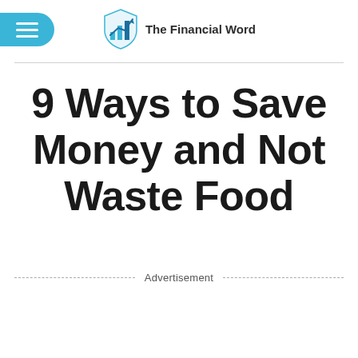The Financial Word
9 Ways to Save Money and Not Waste Food
Advertisement